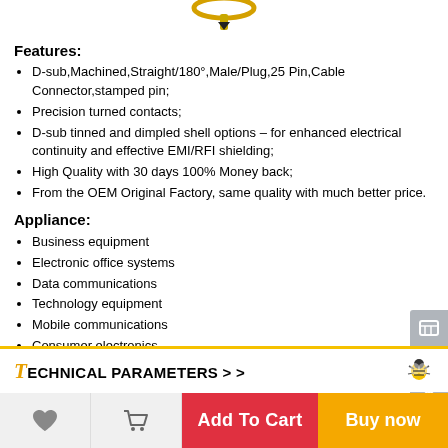[Figure (photo): Partial view of a D-sub connector product image at the top of the page]
Features:
D-sub,Machined,Straight/180°,Male/Plug,25 Pin,Cable Connector,stamped pin;
Precision turned contacts;
D-sub tinned and dimpled shell options – for enhanced electrical continuity and effective EMI/RFI shielding;
High Quality with 30 days 100% Money back;
From the OEM Original Factory, same quality with much better price.
Appliance:
Business equipment
Electronic office systems
Data communications
Technology equipment
Mobile communications
Consumer electronics
TECHNICAL PARAMETERS > >